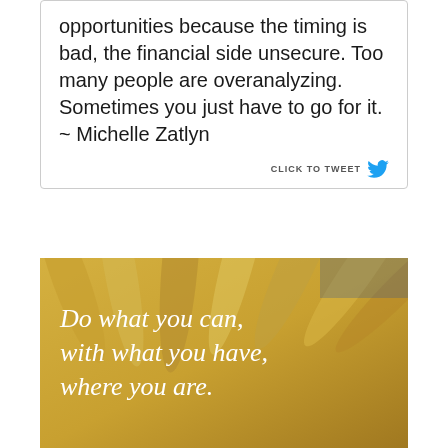opportunities because the timing is bad, the financial side unsecure. Too many people are overanalyzing. Sometimes you just have to go for it. ~ Michelle Zatlyn
CLICK TO TWEET
[Figure (photo): Close-up photo of yellow sunflower petals with text overlay in white italic serif font reading: Do what you can, with what you have, where you are.]